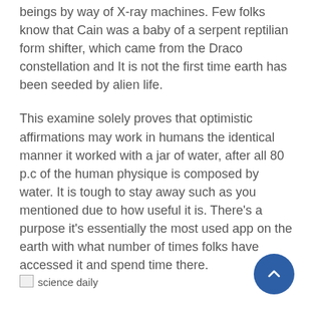beings by way of X-ray machines. Few folks know that Cain was a baby of a serpent reptilian form shifter, which came from the Draco constellation and It is not the first time earth has been seeded by alien life.
This examine solely proves that optimistic affirmations may work in humans the identical manner it worked with a jar of water, after all 80 p.c of the human physique is composed by water. It is tough to stay away such as you mentioned due to how useful it is. There’s a purpose it’s essentially the most used app on the earth with what number of times folks have accessed it and spend time there.
[Figure (other): Broken image placeholder icon followed by text 'science daily']